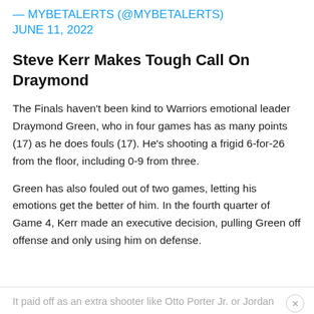— MYBETALERTS (@MYBETALERTS) JUNE 11, 2022
Steve Kerr Makes Tough Call On Draymond
The Finals haven't been kind to Warriors emotional leader Draymond Green, who in four games has as many points (17) as he does fouls (17). He's shooting a frigid 6-for-26 from the floor, including 0-9 from three.
Green has also fouled out of two games, letting his emotions get the better of him. In the fourth quarter of Game 4, Kerr made an executive decision, pulling Green off offense and only using him on defense.
It paid off as an extra shooter like Otto Porter Jr. or Jordan